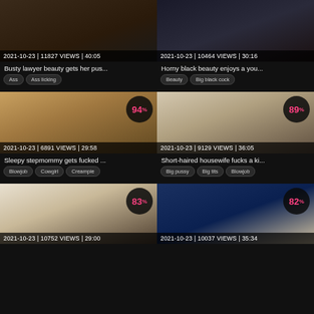[Figure (screenshot): Video thumbnail - busty lawyer scene]
2021-10-23 | 11827 VIEWS | 40:05
Busty lawyer beauty gets her pus...
Ass  Ass licking
[Figure (screenshot): Video thumbnail - horny black beauty scene]
2021-10-23 | 10464 VIEWS | 30:16
Horny black beauty enjoys a you...
Beauty  Big black cock
[Figure (screenshot): Video thumbnail - sleepy stepmommy scene, rating 94%]
2021-10-23 | 6891 VIEWS | 29:58
Sleepy stepmommy gets fucked ...
Blowjob  Cowgirl  Creampie
[Figure (screenshot): Video thumbnail - short-haired housewife scene, rating 89%]
2021-10-23 | 9129 VIEWS | 36:05
Short-haired housewife fucks a ki...
Big pussy  Big tits  Blowjob
[Figure (screenshot): Video thumbnail - bottom left scene, rating 83%]
2021-10-23 | 10752 VIEWS | 29:00
[Figure (screenshot): Video thumbnail - bottom right scene, rating 82%]
2021-10-23 | 10037 VIEWS | 35:34